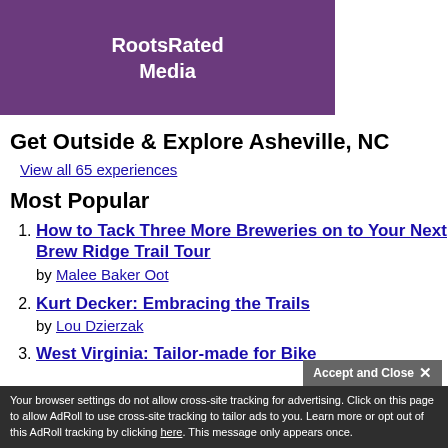[Figure (logo): RootsRated Media logo on purple background]
Get Outside & Explore Asheville, NC
View all 65 experiences
Most Popular
1. How to Tack Three More Breweries on to Your Next Brew Ridge Trail Tour by Malee Baker Oot
2. Kurt Decker: Embracing the Trails by Lou Dzierzak
3. West Virginia: Tailor-made for Bike…
Your browser settings do not allow cross-site tracking for advertising. Click on this page to allow AdRoll to use cross-site tracking to tailor ads to you. Learn more or opt out of this AdRoll tracking by clicking here. This message only appears once.